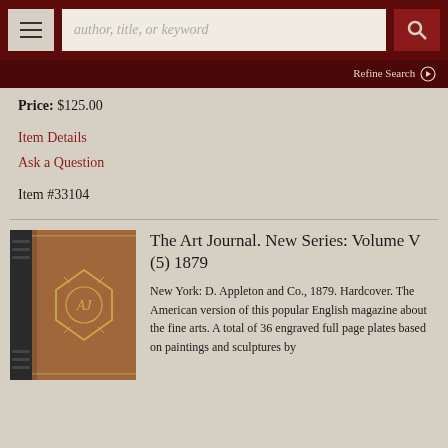author, title, or keyword [search bar with menu and search button]
Refine Search
Price: $125.00
Item Details
Ask a Question
Item #33104
[Figure (photo): Photo of an antique hardcover book with brown leather spine and decorative gold emblem on cover]
The Art Journal. New Series: Volume V (5) 1879
New York: D. Appleton and Co., 1879. Hardcover. The American version of this popular English magazine about the fine arts. A total of 36 engraved full page plates based on paintings and sculptures by